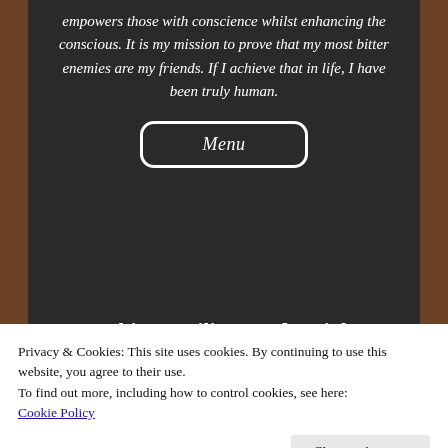empowers those with conscience whilst enhancing the conscious. It is my mission to prove that my most bitter enemies are my friends. If I achieve that in life, I have been truly human.
Menu
Tag Archives: Military Industrial Sabotage
Privacy & Cookies: This site uses cookies. By continuing to use this website, you agree to their use.
To find out more, including how to control cookies, see here:
Cookie Policy
Close and accept